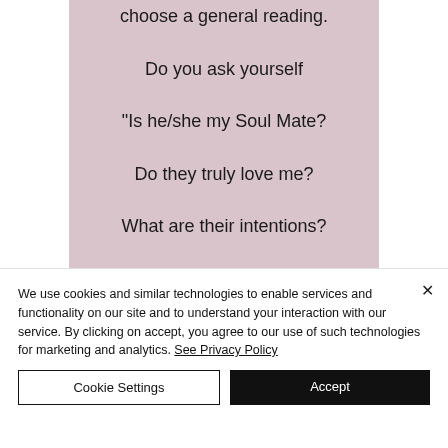choose a general reading.

Do you ask yourself

"Is he/she my Soul Mate?

Do they truly love me?

What are their intentions?

Have I already met my Soul
We use cookies and similar technologies to enable services and functionality on our site and to understand your interaction with our service. By clicking on accept, you agree to our use of such technologies for marketing and analytics. See Privacy Policy
Cookie Settings
Accept